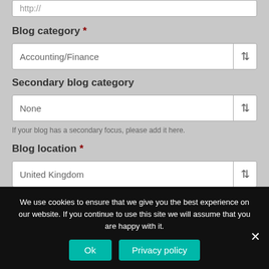http://
Blog category *
Accounting/Finance
Secondary blog category
None
If your blog has a secondary focus, please add it here.
Blog location *
United Kingdom
Further information *
We use cookies to ensure that we give you the best experience on our website. If you continue to use this site we will assume that you are happy with it.